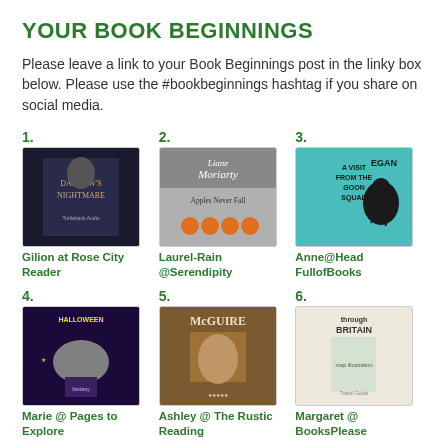YOUR BOOK BEGINNINGS
Please leave a link to your Book Beginnings post in the linky box below. Please use the #bookbeginnings hashtag if you share on social media.
[Figure (photo): Book cover: Darrow's Nightmare]
1. Gilion at Rose City Reader
[Figure (photo): Book cover: Apples Never Fall by Liane Moriarty]
2. Laurel-Rain @Serendipity
[Figure (photo): Book cover: A Visit from the Goon Squad by Jennifer Egan]
3. Anne@Head FullofBooks
[Figure (photo): Book cover: illustrated fantasy cover]
4. Marie @ Pages to Explore
[Figure (photo): Book cover: McGuire]
5. Ashley @ The Rustic Reading
[Figure (photo): Book cover: Through Britain]
6. Margaret @ BooksPlease
[Figure (photo): Book cover: illustrated minimal cover]
7.
[Figure (photo): Book cover: Avalon]
8.
[Figure (photo): Book cover: In the Universe]
9.